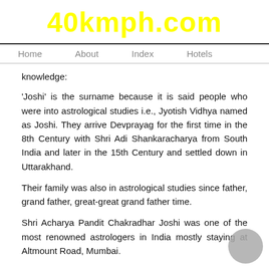40kmph.com
Home   About   Index   Hotels
knowledge:
'Joshi' is the surname because it is said people who were into astrological studies i.e., Jyotish Vidhya named as Joshi. They arrive Devprayag for the first time in the 8th Century with Shri Adi Shankaracharya from South India and later in the 15th Century and settled down in Uttarakhand.
Their family was also in astrological studies since father, grand father, great-great grand father time.
Shri Acharya Pandit Chakradhar Joshi was one of the most renowned astrologers in India mostly staying at Altmount Road, Mumbai.